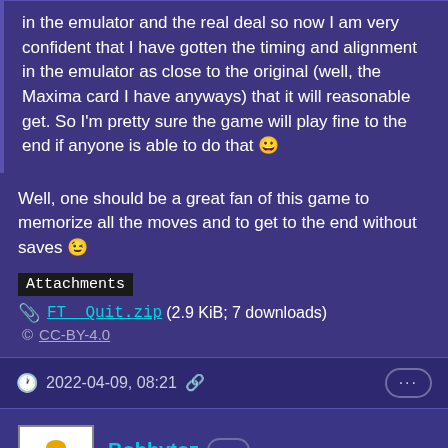in the emulator and the real deal so now I am very confident that I have gotten the timing and alignment in the emulator as close to the original (well, the Maxima card I have anyways) that it will reasonable get. So I'm pretty sure the game will play fine to the end if anyone is able to do that 😀
Well, one should be a great fan of this game to memorize all the moves and to get to the end without saves 😉
Attachments
FT__Quit.zip (2.9 KiB; 7 downloads)
© CC-BY-4.0
2022-04-09, 08:21
Bobbytoz ... Newbie